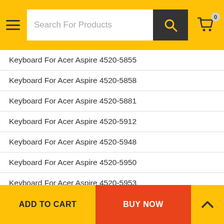Search For Products
Keyboard For Acer Aspire 4520-5855
Keyboard For Acer Aspire 4520-5858
Keyboard For Acer Aspire 4520-5881
Keyboard For Acer Aspire 4520-5912
Keyboard For Acer Aspire 4520-5948
Keyboard For Acer Aspire 4520-5950
Keyboard For Acer Aspire 4520-5953
Keyboard For Acer Aspire 4520-7A1G16MI
Keyboard For Acer Aspire 4520-8920
Keyboard For Acer Aspire 4520G
Keyboard For Acer Aspire 4520G-501G16MI
Keyboard For Acer Aspire 4530
Keyboard For Acer Aspire 4530-5086
Keyboard For Acer Aspire 4530-5109
Keyboard For Acer Aspire 4530-5176
ADD TO CART  BUY NOW